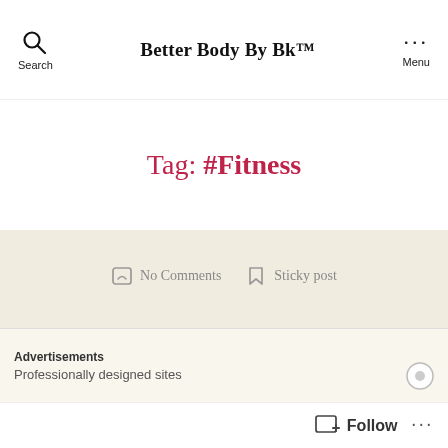Better Body By Bk™
Tag: #Fitness
No Comments   Sticky post
4 Common Weight-Loss
Advertisements
Professionally designed sites
Follow